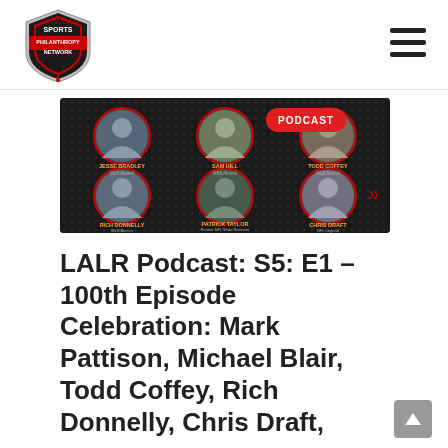[Figure (logo): Sports Philanthropy Network logo - shield shape with red and black design, text SPORTS PHILANTHROPY NETWORK]
[Figure (photo): Podcast thumbnail image with dark background showing 6 circular headshots of people in two rows of 3. Top row: Jesse Bradley (MLS Alumni), Sam Hill (MBA Alumni), Todd Coffey (MLB Alumni). Bottom row: Rich Donnelly (MLB Alumni), Patrick Taylor (Former NFL Wide Receiver), Chris Draft (NFL Legend). Red PODCAST badge in top right.]
LALR Podcast: S5: E1 – 100th Episode Celebration: Mark Pattison, Michael Blair, Todd Coffey, Rich Donnelly, Chris Draft,